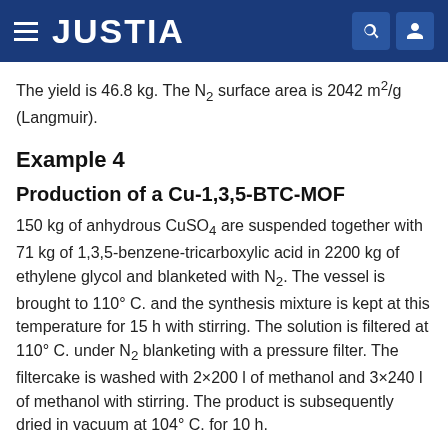JUSTIA
The yield is 46.8 kg. The N2 surface area is 2042 m2/g (Langmuir).
Example 4
Production of a Cu-1,3,5-BTC-MOF
150 kg of anhydrous CuSO4 are suspended together with 71 kg of 1,3,5-benzene-tricarboxylic acid in 2200 kg of ethylene glycol and blanketed with N2. The vessel is brought to 110° C. and the synthesis mixture is kept at this temperature for 15 h with stirring. The solution is filtered at 110° C. under N2 blanketing with a pressure filter. The filtercake is washed with 2×200 l of methanol and 3×240 l of methanol with stirring. The product is subsequently dried in vacuum at 104° C. for 10 h.